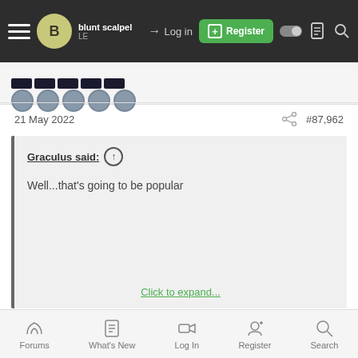blunt scalpel | LE | Log in | Register
21 May 2022   #87,962
Graculus said:
Well...that's going to be popular
Click to expand...
I bet the eastern European members of the EU and NATO are
Forums | What's New | Log In | Register | Search